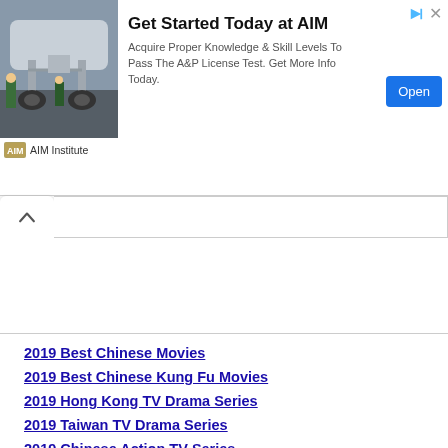[Figure (photo): Advertisement banner for AIM Institute showing airplane landing gear undercarriage with workers visible, with text 'Get Started Today at AIM' and 'Open' button]
2019 Best Chinese Movies
2019 Best Chinese Kung Fu Movies
2019 Hong Kong TV Drama Series
2019 Taiwan TV Drama Series
2019 Chinese Action TV Series
2019 Chinese Adventure TV Series
2019 Chinese Comedy TV Series
2019 Chinese Fantasy TV Series
2019 Chinese History TV Series
2019 Chinese Horror TV Series
2019 Chinese Idol TV Series